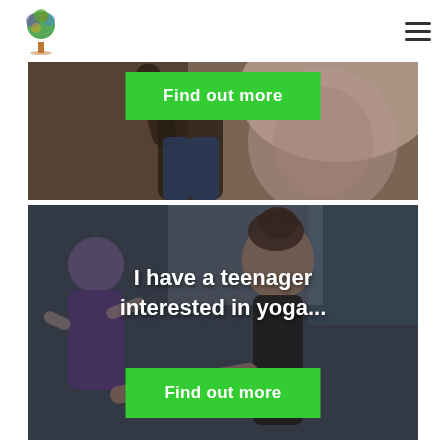Life Tree logo and navigation menu
[Figure (photo): Partial view of a yoga class scene, showing a person from behind with arm raised, cropped at top. A green 'Find out more' button overlays the top of the image.]
[Figure (photo): Photo of a yoga class with a teenager/young woman in foreground with hair in bun, and a younger child in purple top visible to the left. Dark overlay covers much of the image.]
I have a teenager interested in yoga...
Find out more